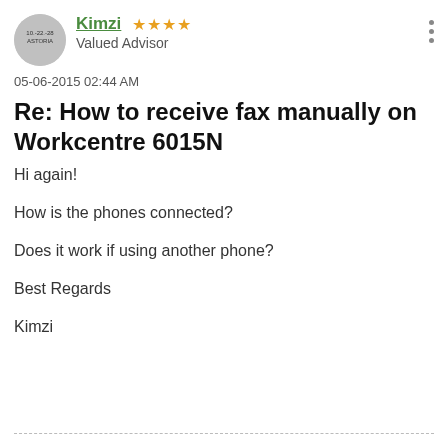Kimzi ★★★★ Valued Advisor
05-06-2015 02:44 AM
Re: How to receive fax manually on Workcentre 6015N
Hi again!
How is the phones connected?
Does it work if using another phone?
Best Regards
Kimzi